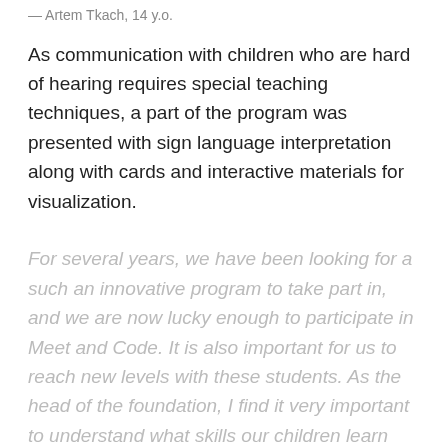— Artem Tkach, 14 y.o.
As communication with children who are hard of hearing requires special teaching techniques, a part of the program was presented with sign language interpretation along with cards and interactive materials for visualization.
For several years, we have been looking for a such an innovative program to take part in, and we are now lucky enough to participate in Meet and Code. It is also important for us to reach new levels with these students. As the head of the foundation, I find it very important to understand what skills our children learn and develop, and ensuring they understand